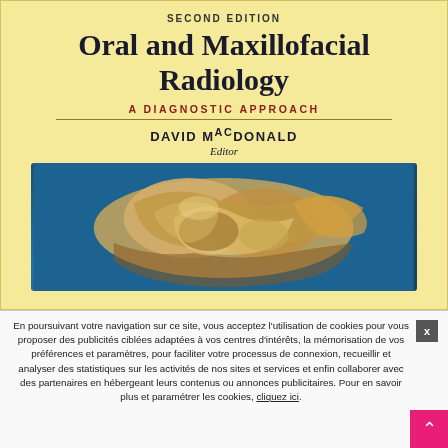SECOND EDITION
Oral and Maxillofacial Radiology
A DIAGNOSTIC APPROACH
DAVID MacDONALD
Editor
[Figure (photo): Medical/anatomical image showing bone and tissue structure (likely jaw/maxillofacial anatomy) on a blue background, displayed on the book cover]
En poursuivant votre navigation sur ce site, vous acceptez l'utilisation de cookies pour vous proposer des publicités ciblées adaptées à vos centres d'intérêts, la mémorisation de vos préférences et paramètres, pour faciliter votre processus de connexion, recueillir et analyser des statistiques sur les activités de nos sites et services et enfin collaborer avec des partenaires en hébergeant leurs contenus ou annonces publicitaires. Pour en savoir plus et paramétrer les cookies, cliquez ici.